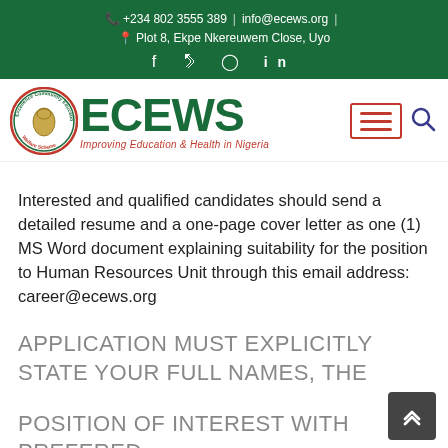+234 802 3555 389 | info@ecews.org | Plot 8, Ekpe Nkereuwem Close, Uyo
[Figure (logo): ECEWS logo with circular emblem showing Africa map and text 'Excellence Community Education Welfare Scheme', with bold green ECEWS letters and tagline 'Improving Education & Health in Nigeria']
Interested and qualified candidates should send a detailed resume and a one-page cover letter as one (1) MS Word document explaining suitability for the position to Human Resources Unit through this email address: career@ecews.org
APPLICATION MUST EXPLICITLY STATE YOUR FULL NAMES, THE
POSITION OF INTEREST WITH PREFERED